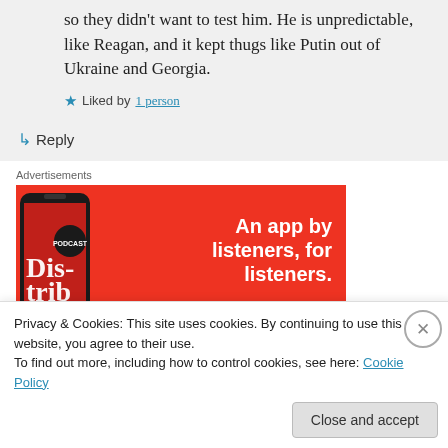so they didn't want to test him. He is unpredictable, like Reagan, and it kept thugs like Putin out of Ukraine and Georgia.
Liked by 1 person
Reply
Advertisements
[Figure (screenshot): Red advertisement banner with phone image on left and text 'An app by listeners, for listeners.' on right in white bold font.]
Privacy & Cookies: This site uses cookies. By continuing to use this website, you agree to their use.
To find out more, including how to control cookies, see here: Cookie Policy
Close and accept